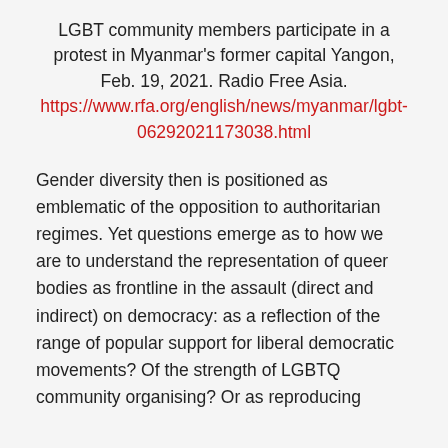LGBT community members participate in a protest in Myanmar's former capital Yangon, Feb. 19, 2021. Radio Free Asia. https://www.rfa.org/english/news/myanmar/lgbt-06292021173038.html
Gender diversity then is positioned as emblematic of the opposition to authoritarian regimes. Yet questions emerge as to how we are to understand the representation of queer bodies as frontline in the assault (direct and indirect) on democracy: as a reflection of the range of popular support for liberal democratic movements? Of the strength of LGBTQ community organising? Or as reproducing